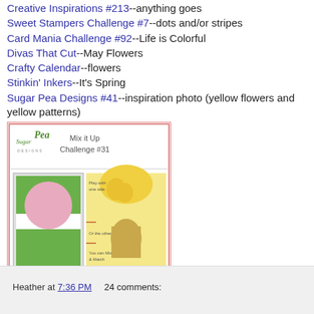Creative Inspirations #213--anything goes
Sweet Stampers Challenge #7--dots and/or stripes
Card Mania Challenge #92--Life is Colorful
Divas That Cut--May Flowers
Crafty Calendar--flowers
Stinkin' Inkers--It's Spring
Sugar Pea Designs #41--inspiration photo (yellow flowers and yellow patterns)
[Figure (photo): SugarPea Designs Mix it Up Challenge #31 promotional image showing a card layout sketch with green panels and pink circle on left, and a photo of yellow flowers in a vase with lemons on right. Text reads 'Play with one side, Or the other, You can Mix & Match'. Website: www.sugarpeadesigns.com]
Fussy & Fancy #187--pink, pearls & posies
Pink Gem Challenge #194--spring fever
Heather at 7:36 PM    24 comments: